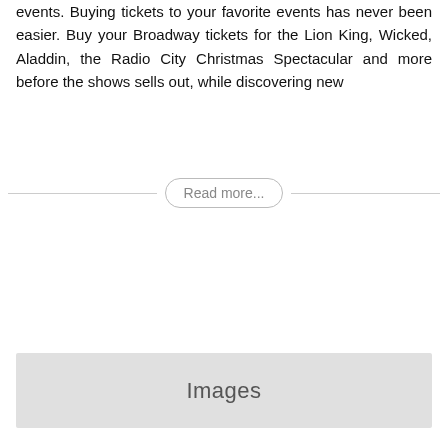events. Buying tickets to your favorite events has never been easier. Buy your Broadway tickets for the Lion King, Wicked, Aladdin, the Radio City Christmas Spectacular and more before the shows sells out, while discovering new
Read more...
Images